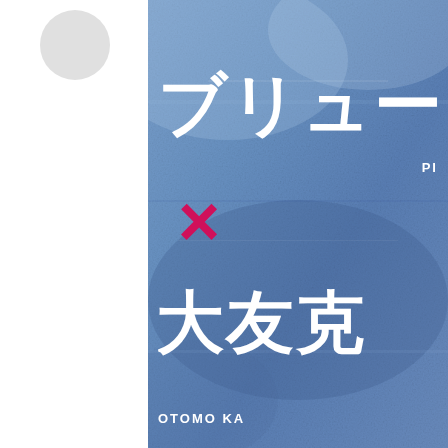[Figure (illustration): Book or poster cover with blue textured concrete background. Large white Japanese katakana text 'ブリュー' (top) and '大友克' (bottom) with a magenta/pink '×' cross symbol between them. Small text 'PI' visible at upper right and 'OTOMO KA' at lower right. Left portion is white with a gray circle icon at top.]